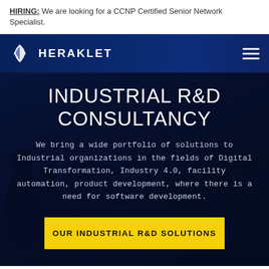HIRING: We are looking for a CCNP Certified Senior Network Specialist.
[Figure (screenshot): Heraklet website hero section with dark blue background, silhouettes of people, company logo, hamburger menu, title 'INDUSTRIAL R&D CONSULTANCY', descriptive paragraph, and yellow CTA button 'OUR INDUSTRIAL R&D SOLUTIONS']
INDUSTRIAL R&D CONSULTANCY
We bring a wide portfolio of solutions to Industrial organizations in the fields of Digital Transformation, Industry 4.0, facility automation, product development, where there is a need for software development.
OUR INDUSTRIAL R&D SOLUTIONS